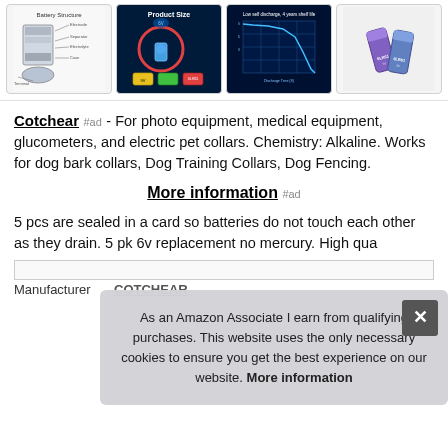[Figure (photo): Four product images in a horizontal strip: battery structure diagram, product size infographic on dark background, discharge curve chart, and photo of two batteries]
Cotchear #ad - For photo equipment, medical equipment, glucometers, and electric pet collars. Chemistry: Alkaline. Works for dog bark collars, Dog Training Collars, Dog Fencing.
More information #ad
5 pcs are sealed in a card so batteries do not touch each other as they drain. 5 pk 6v replacement no mercury. High qua
As an Amazon Associate I earn from qualifying purchases. This website uses the only necessary cookies to ensure you get the best experience on our website. More information
| Manufacturer | COTCHEAR |
Manufacturer  COTCHEAR